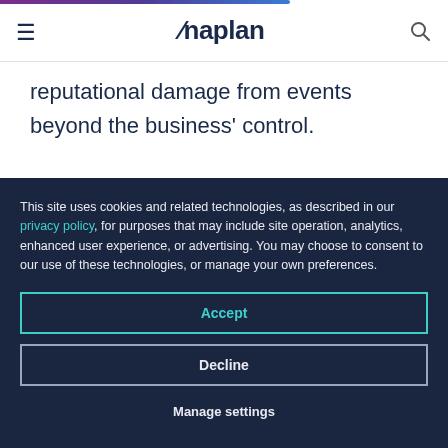Anaplan
reputational damage from events beyond the business’ control.
If the retailer planning for an uncertain holiday
This site uses cookies and related technologies, as described in our privacy policy, for purposes that may include site operation, analytics, enhanced user experience, or advertising. You may choose to consent to our use of these technologies, or manage your own preferences.
Accept
Decline
Manage settings